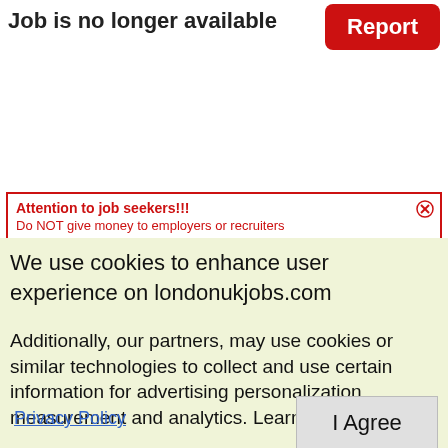Job is no longer available
Report
Attention to job seekers!!!
Do NOT give money to employers or recruiters
We use cookies to enhance user experience on londonukjobs.com
Additionally, our partners, may use cookies or similar technologies to collect and use certain information for advertising personalization, measurement and analytics. Learn more
Privacy Policy
I Agree